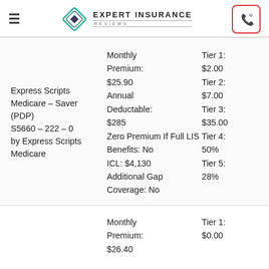Expert Insurance Reviews
| Plan | Plan Details | Tiers |
| --- | --- | --- |
| Express Scripts Medicare – Saver (PDP)
S5660 – 222 – 0 by Express Scripts Medicare | Monthly Premium: $25.90
Annual Deductable: $285
Zero Premium If Full LIS Benefits: No
ICL: $4,130
Additional Gap Coverage: No | Tier 1: $2.00
Tier 2: $7.00
Tier 3: $35.00
Tier 4: 50%
Tier 5: 28% |
|  | Monthly Premium: $26.40 | Tier 1: $0.00 |